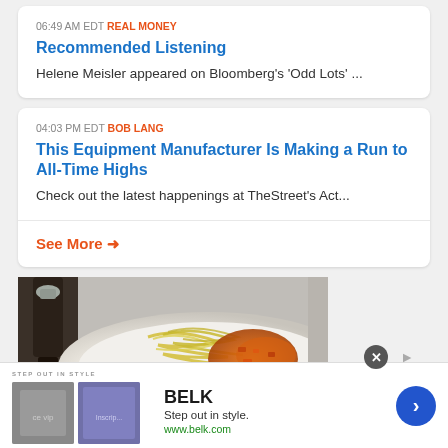06:49 AM EDT REAL MONEY
Recommended Listening
Helene Meisler appeared on Bloomberg's 'Odd Lots' ...
04:03 PM EDT BOB LANG
This Equipment Manufacturer Is Making a Run to All-Time Highs
Check out the latest happenings at TheStreet's Act...
See More →
[Figure (photo): Photo of a pasta dish with orange/tomato sauce on a white plate, with a bottle of olive oil in the background]
STEP OUT IN STYLE  BELK  Step out in style.  www.belk.com